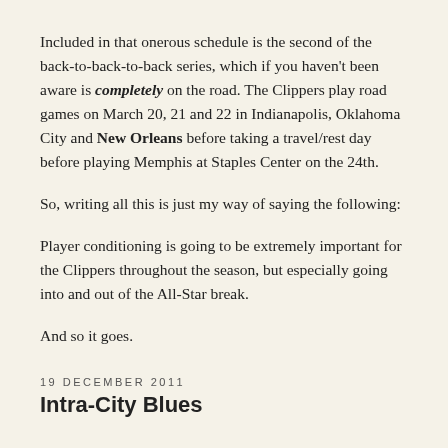Included in that onerous schedule is the second of the back-to-back-to-back series, which if you haven't been aware is completely on the road. The Clippers play road games on March 20, 21 and 22 in Indianapolis, Oklahoma City and New Orleans before taking a travel/rest day before playing Memphis at Staples Center on the 24th.
So, writing all this is just my way of saying the following:
Player conditioning is going to be extremely important for the Clippers throughout the season, but especially going into and out of the All-Star break.
And so it goes.
19 DECEMBER 2011
Intra-City Blues